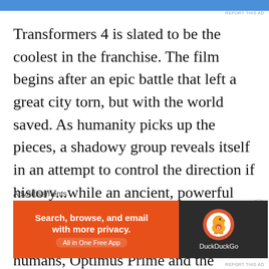[Figure (other): Blue advertisement banner at the top of the page]
REPORT THIS AD
Transformers 4 is slated to be the coolest in the franchise. The film begins after an epic battle that left a great city torn, but with the world saved. As humanity picks up the pieces, a shadowy group reveals itself in an attempt to control the direction if history...while an ancient, powerful new menace sets Earth in its cross hairs. With the help of a new cast of humans, Optimus Prime and the Autobots rise to meet their most fearsome challenge yet. In a n incredible adventure, they are swept up in a war o
Advertisements
[Figure (other): DuckDuckGo advertisement banner: Search, browse, and email with more privacy. All in One Free App. DuckDuckGo logo on the right.]
REPORT THIS AD